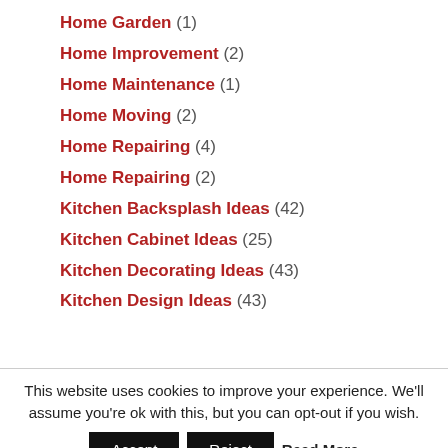Home Garden (1)
Home Improvement (2)
Home Maintenance (1)
Home Moving (2)
Home Repairing (4)
Home Repairing (2)
Kitchen Backsplash Ideas (42)
Kitchen Cabinet Ideas (25)
Kitchen Decorating Ideas (43)
Kitchen Design Ideas (43)
This website uses cookies to improve your experience. We'll assume you're ok with this, but you can opt-out if you wish.